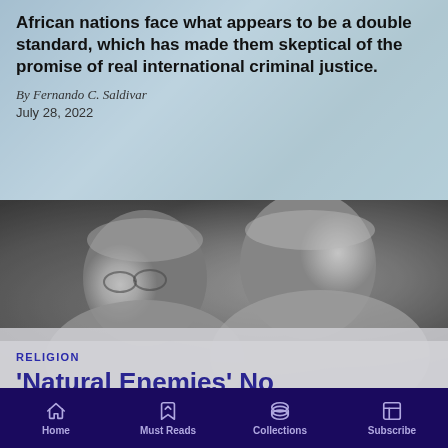African nations face what appears to be a double standard, which has made them skeptical of the promise of real international criminal justice.
By Fernando C. Saldivar
July 28, 2022
[Figure (photo): Black and white photograph of two older men in close conversation, facing each other in profile]
RELIGION
'Natural Enemies' No
Home | Must Reads | Collections | Subscribe